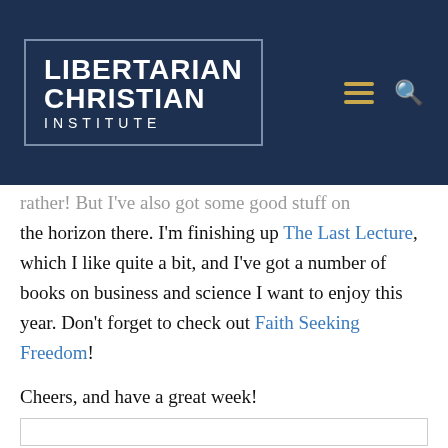LIBERTARIAN CHRISTIAN INSTITUTE
rather! But I've also got some good stuff on the horizon there. I'm finishing up The Last Lecture, which I like quite a bit, and I've got a number of books on business and science I want to enjoy this year. Don't forget to check out Faith Seeking Freedom!
Cheers, and have a great week!